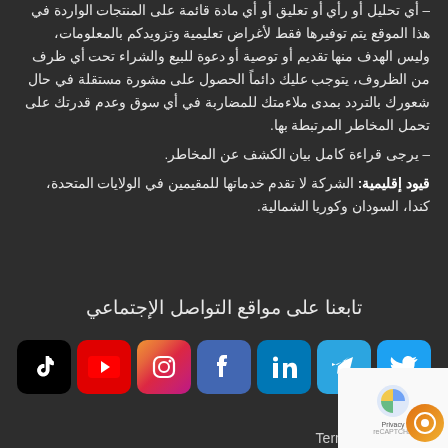– أي تحليل أو رأي أو تعليق أو أي مادة قائمة على المنتجات الواردة في هذا الموقع يتم توفيرها فقط لأغراض تعليمية وتزويدكم بالمعلومات، وليس الهدف منها تقديم أو توصية أو دعوة للبيع والشراء تحت أي ظرف من الظروف، يتوجب عليك دائماً الحصول على مشورة مستقلة في حال شعورك بالتردد بمدى ملاءمتك للمضاربة في أي سوق وعدم قدرتك على تحمل المخاطر المرتبطة بها.
– يرجى قراءة كامل بيان الكشف عن المخاطر.
قيود إقليمية: الشركة لا تقدم خدماتها للمقيمين في الولايات المتحدة، كندا، السودان وكوريا الشمالية.
تابعنا على مواقع التواصل الإجتماعي
[Figure (logo): Social media icons row: TikTok, YouTube, Instagram, Facebook, LinkedIn, Telegram, Twitter]
Privacy Policy
Term & Con...
Pamm...
Legal Depositor Policy